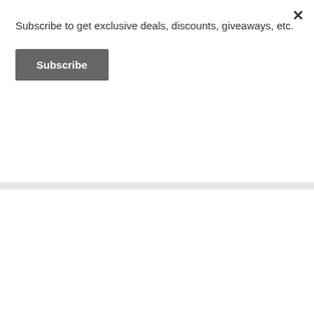Subscribe to get exclusive deals, discounts, giveaways, etc.
Subscribe
[Figure (screenshot): YouTube video thumbnail with play button, dark background with a person visible on the right side]
[Figure (screenshot): Advertisement image with blue sky background and white stylized text]
Advertisements
[Figure (screenshot): Laurel Road Loyalty Checking advertisement banner - The only checking rewards that pay you when you get paid.]